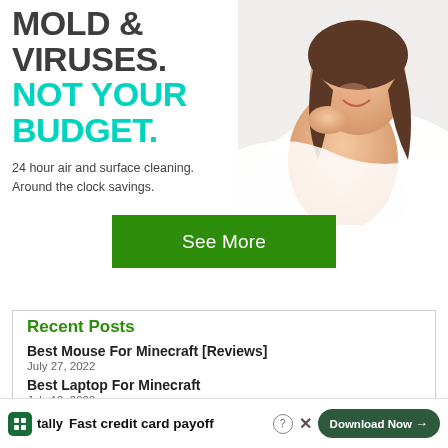[Figure (infographic): Advertisement banner with bold text about mold and viruses, cyan and dark gray headline, subtext about 24 hour air and surface cleaning, and image of laughing girl in bed. Green 'See More' button below.]
Recent Posts
Best Mouse For Minecraft [Reviews]
July 27, 2022
Best Laptop For Minecraft
July 12, 2022
Minec
June 1...
Minec
[Figure (infographic): Bottom advertisement bar for Tally app: green Tally logo icon, 'Fast credit card payoff' text, help icon, close X button, and dark green 'Download Now' button with arrow.]